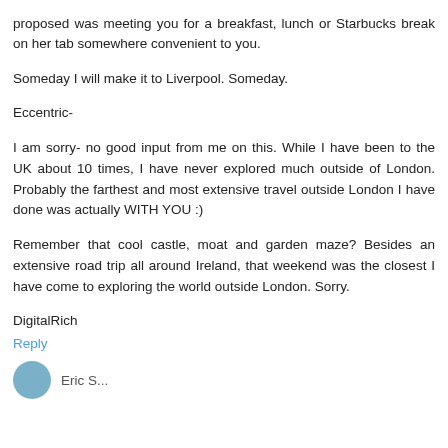proposed was meeting you for a breakfast, lunch or Starbucks break on her tab somewhere convenient to you.
Someday I will make it to Liverpool. Someday.
Eccentric-
I am sorry- no good input from me on this. While I have been to the UK about 10 times, I have never explored much outside of London. Probably the farthest and most extensive travel outside London I have done was actually WITH YOU :)
Remember that cool castle, moat and garden maze? Besides an extensive road trip all around Ireland, that weekend was the closest I have come to exploring the world outside London. Sorry.
DigitalRich
Reply
Eric S...